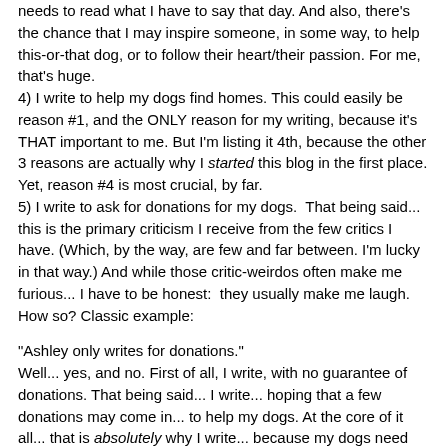needs to read what I have to say that day. And also, there's the chance that I may inspire someone, in some way, to help this-or-that dog, or to follow their heart/their passion. For me, that's huge.
4) I write to help my dogs find homes. This could easily be reason #1, and the ONLY reason for my writing, because it's THAT important to me. But I'm listing it 4th, because the other 3 reasons are actually why I started this blog in the first place. Yet, reason #4 is most crucial, by far.
5) I write to ask for donations for my dogs.  That being said... this is the primary criticism I receive from the few critics I have. (Which, by the way, are few and far between. I'm lucky in that way.) And while those critic-weirdos often make me furious... I have to be honest:  they usually make me laugh. How so? Classic example:
"Ashley only writes for donations."
Well... yes, and no. First of all, I write, with no guarantee of donations. That being said... I write... hoping that a few donations may come in... to help my dogs. At the core of it all... that is absolutely why I write... because my dogs need help, and I need help, to help them. How can anyone criticize that? I run a charity!
At the end of each blog post, I provide a donate link. There's no obligation to donate... but a link is there if you wish to do so. Why is it there? Well,